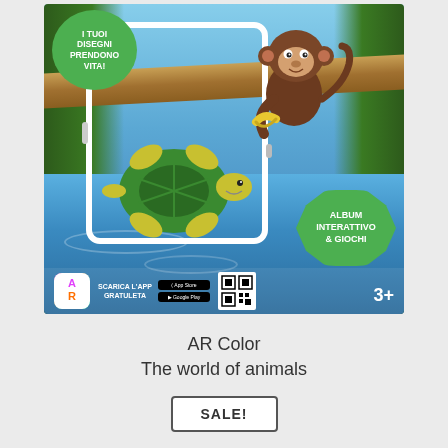[Figure (illustration): Children's coloring book cover illustration showing a cartoon monkey holding a banana and a cartoon turtle swimming in water, with a tablet frame overlaid on the scene. Green speech bubble top-left reads 'I TUOI DISEGNI PRENDONO VITA!' and green cloud bubble bottom-right reads 'ALBUM INTERATTIVO & GIOCHI'. Bottom bar shows AR logo, 'SCARICA L'APP GRATULETA', App Store and Google Play buttons, QR code, and age rating '3+'.]
AR Color
The world of animals
SALE!